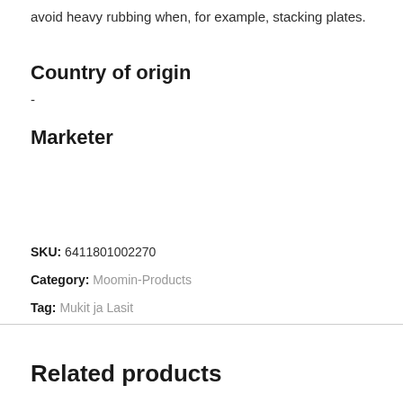avoid heavy rubbing when, for example, stacking plates.
Country of origin
-
Marketer
SKU: 6411801002270
Category: Moomin-Products
Tag: Mukit ja Lasit
Related products